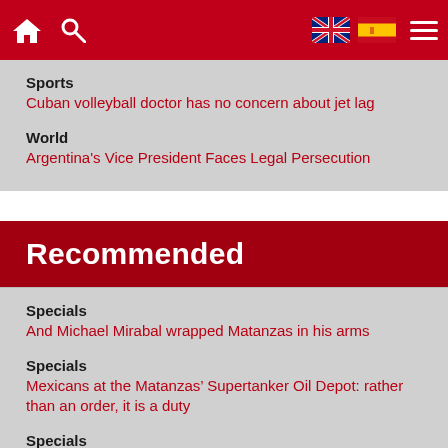Navigation bar with home, search, UK flag, Spain flag, menu icons
Sports
Cuban volleyball doctor has no concern about jet lag
World
Argentina's Vice President Faces Legal Persecution
Recommended
Specials
And Michael Mirabal wrapped Matanzas in his arms
Specials
Mexicans at the Matanzas' Supertanker Oil Depot: rather than an order, it is a duty
Specials